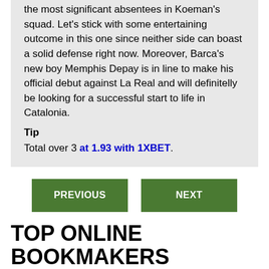the most significant absentees in Koeman's squad. Let's stick with some entertaining outcome in this one since neither side can boast a solid defense right now. Moreover, Barca's new boy Memphis Depay is in line to make his official debut against La Real and will definitelly be looking for a successful start to life in Catalonia.
Tip
Total over 3 at 1.93 with 1XBET.
PREVIOUS
NEXT
TOP ONLINE BOOKMAKERS
These bookmakers are worthy of the players'